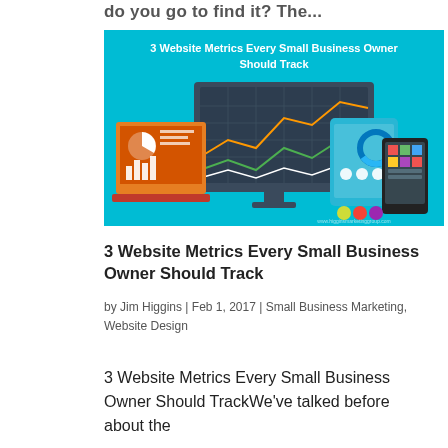do you go to find it? The...
[Figure (infographic): Infographic titled '3 Website Metrics Every Small Business Owner Should Track' showing a laptop with charts, a desktop monitor with line graphs, a tablet, and a mobile phone, all displaying analytics dashboards on a teal/cyan background.]
3 Website Metrics Every Small Business Owner Should Track
by Jim Higgins | Feb 1, 2017 | Small Business Marketing, Website Design
3 Website Metrics Every Small Business Owner Should TrackWe've talked before about the